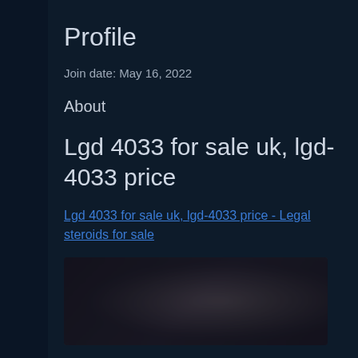Profile
Join date: May 16, 2022
About
Lgd 4033 for sale uk, lgd-4033 price
Lgd 4033 for sale uk, lgd-4033 price - Legal steroids for sale
[Figure (photo): Blurred product image, dark background]